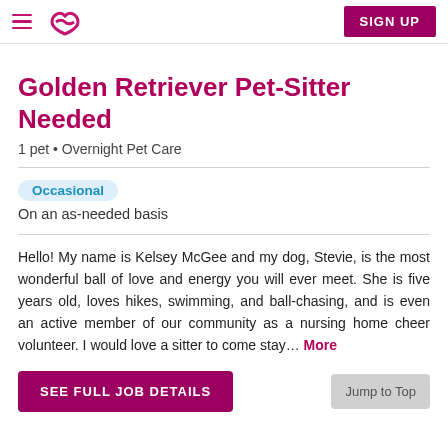Rover pet sitting app header with hamburger menu, logo, and SIGN UP button
Golden Retriever Pet-Sitter Needed
1 pet • Overnight Pet Care
Occasional
On an as-needed basis
Hello! My name is Kelsey McGee and my dog, Stevie, is the most wonderful ball of love and energy you will ever meet. She is five years old, loves hikes, swimming, and ball-chasing, and is even an active member of our community as a nursing home cheer volunteer. I would love a sitter to come stay... More
SEE FULL JOB DETAILS
Jump to Top